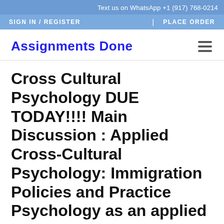Text us on WhatsApp +1 (917) 768-0214
SIGN IN / REGISTER | PLACE ORDER
Assignments Done
Cross Cultural Psychology DUE TODAY!!!! Main Discussion : Applied Cross-Cultural Psychology: Immigration Policies and Practice Psychology as an applied s